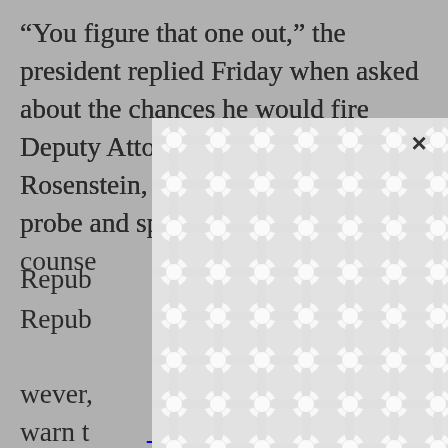“You figure that one out,” the president replied Friday when asked about the chances he would fire Deputy Attorney General Rod Rosenstein, who oversees the Russia probe and special counsel… Republicans… however, warn that… equivalent of Richard… Saturday Night Massacre…; top Democrats… Friday urging… acting in that kind of toxic environment would be nearly impossible, according to congressional aides and former officials.
[Figure (screenshot): A modal dialog with a decorative patterned background (interlocking circles) and a close (X) button in the top-right corner, overlying the article text.]